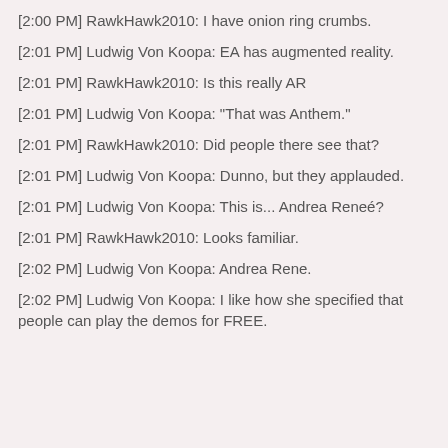[2:00 PM] RawkHawk2010: I have onion ring crumbs.
[2:01 PM] Ludwig Von Koopa: EA has augmented reality.
[2:01 PM] RawkHawk2010: Is this really AR
[2:01 PM] Ludwig Von Koopa: "That was Anthem."
[2:01 PM] RawkHawk2010: Did people there see that?
[2:01 PM] Ludwig Von Koopa: Dunno, but they applauded.
[2:01 PM] Ludwig Von Koopa: This is... Andrea Reneé?
[2:01 PM] RawkHawk2010: Looks familiar.
[2:02 PM] Ludwig Von Koopa: Andrea Rene.
[2:02 PM] Ludwig Von Koopa: I like how she specified that people can play the demos for FREE.